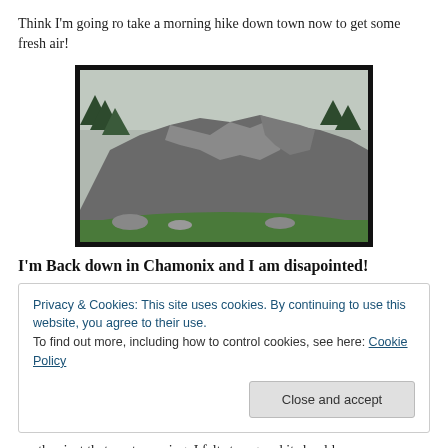Think I'm going ro take a morning hike down town now to get some fresh air!
[Figure (photo): Photograph of a large rocky mountain cliff face with green trees and grass in the foreground, foggy sky above, taken in Chamonix area.]
I'm Back down in Chamonix and I am disapointed!
Privacy & Cookies: This site uses cookies. By continuing to use this website, you agree to their use.
To find out more, including how to control cookies, see here: Cookie Policy
another just that next morning. I felt strong and it should